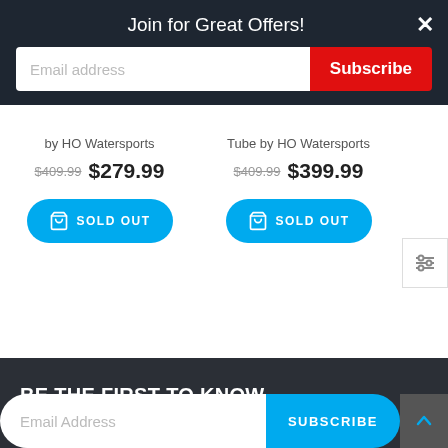Join for Great Offers!
Email address
Subscribe
by HO Watersports
$409.99  $279.99
SOLD OUT
Tube by HO Watersports
$409.99  $399.99
SOLD OUT
BE THE FIRST TO KNOW
Get all the latest information on Events, Sales and Offers. Sign up for newsletter today.
Email Address
SUBSCRIBE